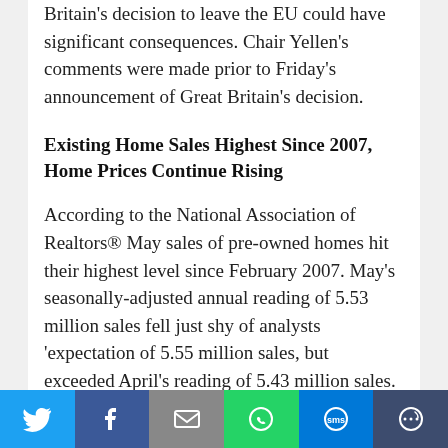Britain's decision to leave the EU could have significant consequences. Chair Yellen's comments were made prior to Friday's announcement of Great Britain's decision.
Existing Home Sales Highest Since 2007, Home Prices Continue Rising
According to the National Association of Realtors® May sales of pre-owned homes hit their highest level since February 2007. May's seasonally-adjusted annual reading of 5.53 million sales fell just shy of analysts 'expectation of 5.55 million sales, but exceeded April's reading of 5.43 million sales. May's reading represented a 1.80 percent increase in sales and a year-over-year...
[Figure (other): Social media share bar with Twitter, Facebook, Email, WhatsApp, SMS, and More buttons]